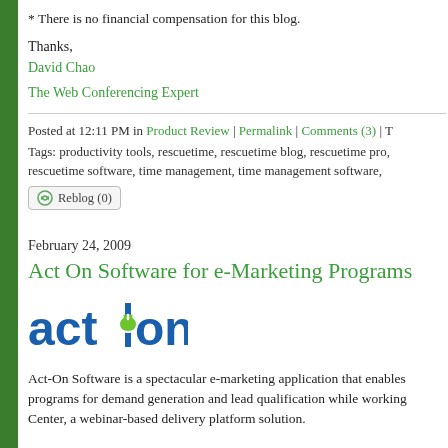* There is no financial compensation for this blog.
Thanks,
David Chao
The Web Conferencing Expert
Posted at 12:11 PM in Product Review | Permalink | Comments (3) | T
Tags: productivity tools, rescuetime, rescuetime blog, rescuetime pro, rescuetime software, time management, time management software,
[Figure (other): Reblog (0) button]
February 24, 2009
Act On Software for e-Marketing Programs
[Figure (logo): Act-On software logo in blue and green]
Act-On Software is a spectacular e-marketing application that enables programs for demand generation and lead qualification while working Center, a webinar-based delivery platform solution.